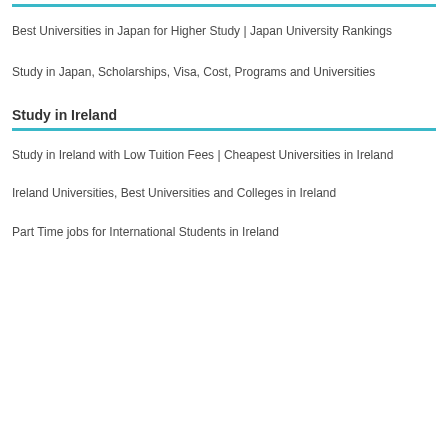Best Universities in Japan for Higher Study | Japan University Rankings
Study in Japan, Scholarships, Visa, Cost, Programs and Universities
Study in Ireland
Study in Ireland with Low Tuition Fees | Cheapest Universities in Ireland
Ireland Universities, Best Universities and Colleges in Ireland
Part Time jobs for International Students in Ireland